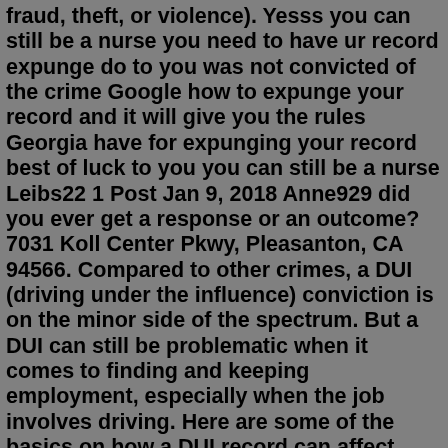fraud, theft, or violence). Yesss you can still be a nurse you need to have ur record expunge do to you was not convicted of the crime Google how to expunge your record and it will give you the rules Georgia have for expunging your record best of luck to you you can still be a nurse Leibs22 1 Post Jan 9, 2018 Anne929 did you ever get a response or an outcome?7031 Koll Center Pkwy, Pleasanton, CA 94566. Compared to other crimes, a DUI (driving under the influence) conviction is on the minor side of the spectrum. But a DUI can still be problematic when it comes to finding and keeping employment, especially when the job involves driving. Here are some of the basics on how a DUI record can affect ...It's not unheard of, people getting places onto their course and having careers as nurses with criminal records so give it a try and see what happens. Just don't try to hide it as it will get found out. 2. steph1994. Badges: 4.Oct 01, 2021 · Getting charged and convicted of a DUI is a serious offense that can have far-reaching ramifications, including on your chosen professional career. This is